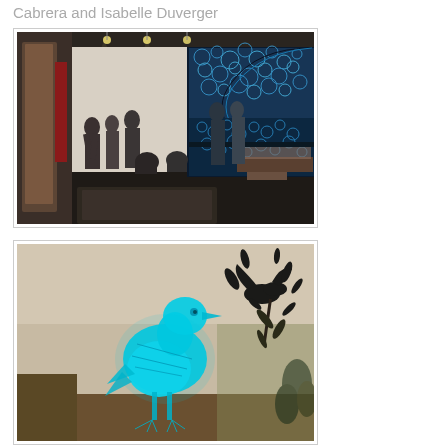Cabrera and Isabelle Duverger
[Figure (photo): Gallery interior photo showing a room with people standing and sitting, with a large blue digital projection on the wall showing bubble-like textures and a curved shape.]
[Figure (photo): Photo of a glowing cyan/blue silhouette of a crow projected onto a light-colored wall, with dark bird/plant silhouettes on the right side.]